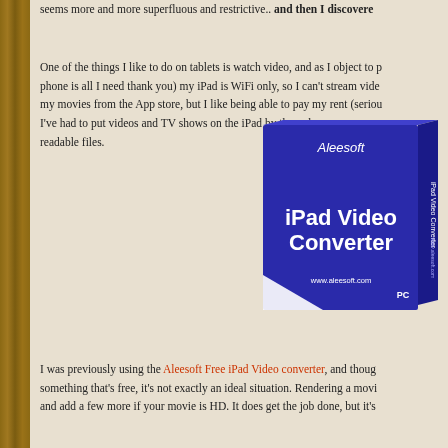seems more and more superfluous and restrictive.. and then I discovere
One of the things I like to do on tablets is watch video, and as I object to paying for a phone is all I need thank you) my iPad is WiFi only, so I can't stream video. I buy my movies from the App store, but I like being able to pay my rent (seriously). So I've had to put videos and TV shows on the iPad by the arduous process of converting them to iPad readable files.
[Figure (photo): Product box image for Aleesoft iPad Video Converter software, showing a blue software box with the product name 'iPad Video Converter' in large white text, 'Aleesoft' branding at top, and 'www.aleesoft.com' and 'PC' at the bottom.]
I was previously using the Aleesoft Free iPad Video converter, and though something that's free, it's not exactly an ideal situation. Rendering a movie and add a few more if your movie is HD. It does get the job done, but it's